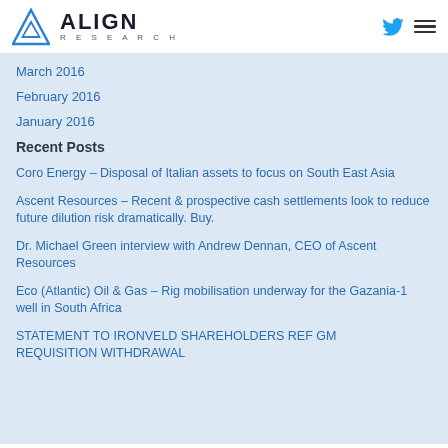ALIGN RESEARCH
March 2016
February 2016
January 2016
Recent Posts
Coro Energy – Disposal of Italian assets to focus on South East Asia
Ascent Resources – Recent & prospective cash settlements look to reduce future dilution risk dramatically. Buy.
Dr. Michael Green interview with Andrew Dennan, CEO of Ascent Resources
Eco (Atlantic) Oil & Gas – Rig mobilisation underway for the Gazania-1 well in South Africa
STATEMENT TO IRONVELD SHAREHOLDERS REF GM REQUISITION WITHDRAWAL